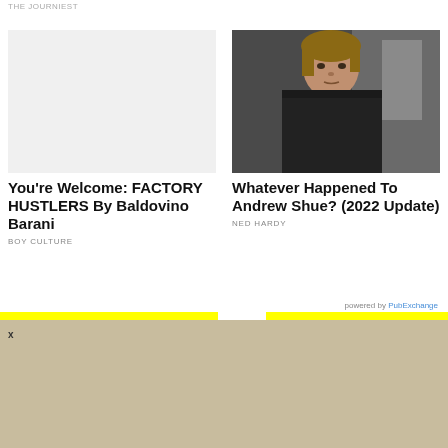THE JOURNIEST
[Figure (photo): Empty/white placeholder image for Factory Hustlers article]
You're Welcome: FACTORY HUSTLERS By Baldovino Barani
BOY CULTURE
[Figure (photo): Photo of Andrew Shue, a man with medium-length hair wearing a black shirt]
Whatever Happened To Andrew Shue? (2022 Update)
NED HARDY
powered by PubExchange